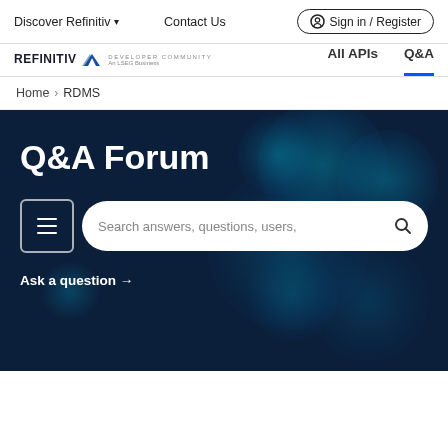Discover Refinitiv ▾   Contact Us   Sign in / Register
[Figure (logo): Refinitiv logo with arrow icon and 'An LSEG Business' subtitle, alongside 'DEVELOPER COMMUNITY' text]
All APIs   Q&A
Home > RDMS
Q&A Forum
Search answers, questions, users,
Ask a question →